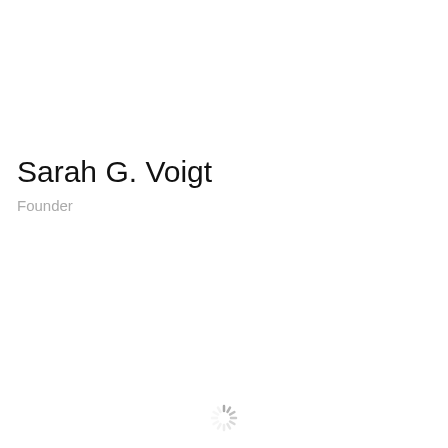Sarah G. Voigt
Founder
[Figure (other): Loading spinner icon at the bottom center of the page]